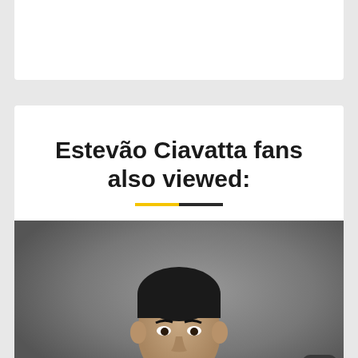Estevão Ciavatta fans also viewed:
[Figure (photo): A man wearing a black t-shirt photographed against a grey gradient background, upper body visible]